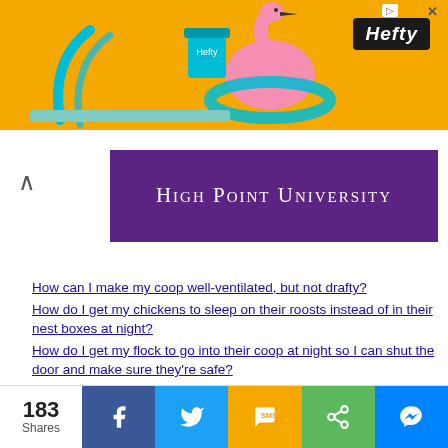[Figure (illustration): Orange Hefty brand advertisement banner with flamingo and pool floatie graphic]
[Figure (logo): High Point University purple banner logo with white text]
How can I make my coop well-ventilated, but not drafty?
How do I get my chickens to sleep on their roosts instead of in their nest boxes at night?
How do I get my flock to go into their coop at night so I can shut the door and make sure they're safe?
How do I keep my run from becoming muddy?
How do I transition my juvenile chicks to their outdoor coop when it's cold outside?
How much space should my chickens have in their run?
183 Shares — Facebook, Twitter, SMS, Share, Messenger